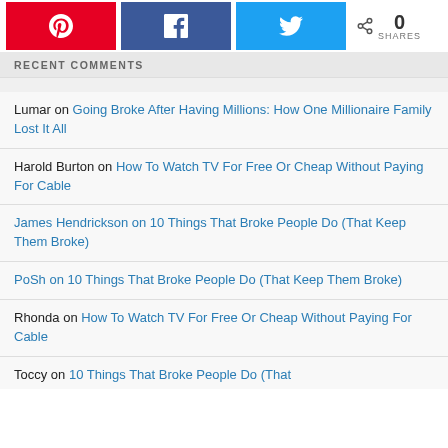[Figure (screenshot): Social share bar with Pinterest (red), Facebook (blue), Twitter (light blue) buttons and 0 shares count]
RECENT COMMENTS
Lumar on Going Broke After Having Millions: How One Millionaire Family Lost It All
Harold Burton on How To Watch TV For Free Or Cheap Without Paying For Cable
James Hendrickson on 10 Things That Broke People Do (That Keep Them Broke)
PoSh on 10 Things That Broke People Do (That Keep Them Broke)
Rhonda on How To Watch TV For Free Or Cheap Without Paying For Cable
Toccy on 10 Things That Broke People Do (That...